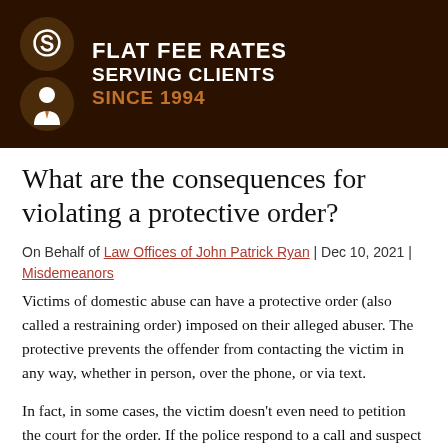FLAT FEE RATES
SERVING CLIENTS
SINCE 1994
What are the consequences for violating a protective order?
On Behalf of Law Offices of John Patrick Ryan | Dec 10, 2021 | Misdemeanors
Victims of domestic abuse can have a protective order (also called a restraining order) imposed on their alleged abuser. The protective prevents the offender from contacting the victim in any way, whether in person, over the phone, or via text.
In fact, in some cases, the victim doesn't even need to petition the court for the order. If the police respond to a call and suspect domestic violence, they get an order